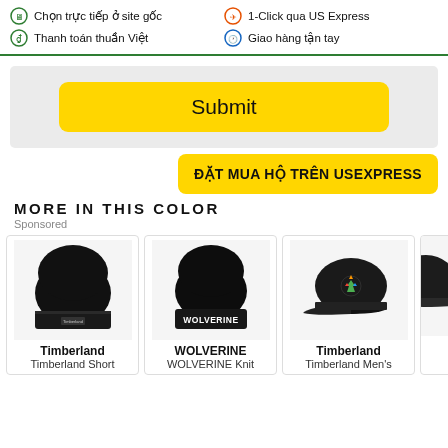Chọn trực tiếp ở site gốc | Thanh toán thuần Việt | 1-Click qua US Express | Giao hàng tận tay
Submit
ĐẶT MUA HỘ TRÊN USEXPRESS
MORE IN THIS COLOR
Sponsored
[Figure (photo): Black knit beanie hat with Timberland logo patch]
Timberland
Timberland Short
[Figure (photo): Black knit beanie with WOLVERINE text on brim]
WOLVERINE
WOLVERINE Knit
[Figure (photo): Black baseball cap with colorful Timberland tree logo]
Timberland
Timberland Men's
[Figure (photo): Partial view of dark hat on right edge]